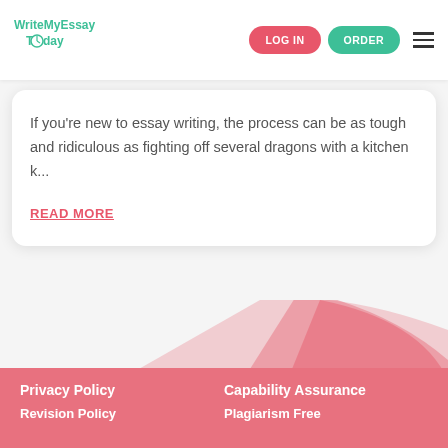[Figure (logo): WriteMyEssayToday logo in teal/green color with clock icon]
LOG IN
ORDER
If you're new to essay writing, the process can be as tough and ridiculous as fighting off several dragons with a kitchen k...
READ MORE
Privacy Policy
Capability Assurance
Revision Policy
Plagiarism Free